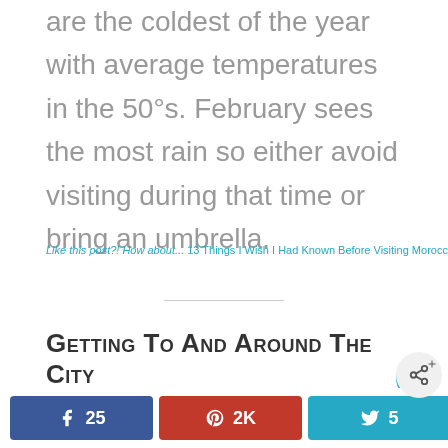are the coldest of the year with average temperatures in the 50°s. February sees the most rain so either avoid visiting during that time or bring an umbrella.
Like this post?! How about... 13 Things I Wish I Had Known Before Visiting Morocco
Getting to and Around the City
25  2K  5  2K SHARES